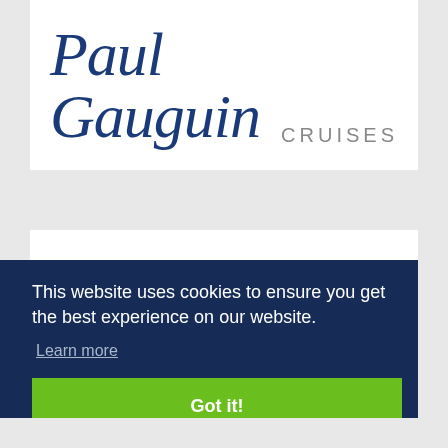[Figure (logo): Paul Gauguin Cruises logo — cursive script 'Paul Gauguin' in dark navy blue with 'CRUISES' in grey sans-serif capitals to the right]
This website uses cookies to ensure you get the best experience on our website.
Learn more
Got it!